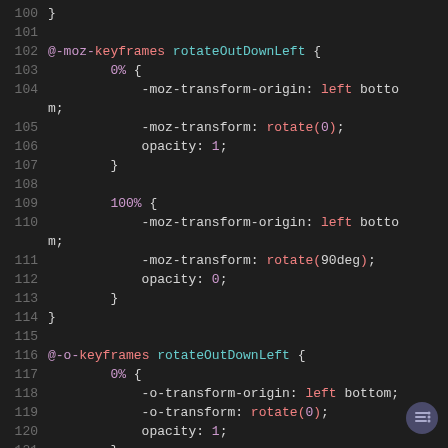[Figure (screenshot): CSS code editor screenshot showing @-moz-keyframes and @-o-keyframes rotateOutDownLeft definitions, lines 100-122, dark theme syntax highlighting]